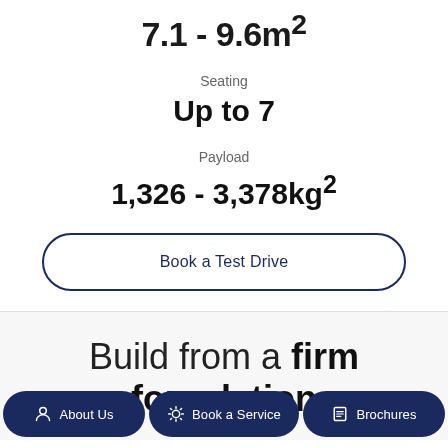7.1 - 9.6m²
Seating
Up to 7
Payload
1,326 - 3,378kg²
Book a Test Drive
Build from a firm foundation
About Us  Book a Service  Brochures